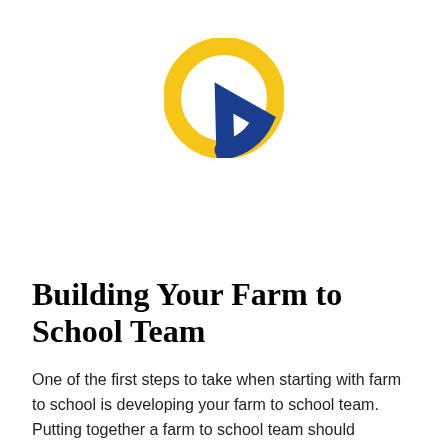[Figure (logo): Circular donut-style logo/icon: large yellow ring with a small blue segment at the bottom-right, white center hole, resembling a farm-to-school program emblem.]
Building Your Farm to School Team
One of the first steps to take when starting with farm to school is developing your farm to school team. Putting together a farm to school team should